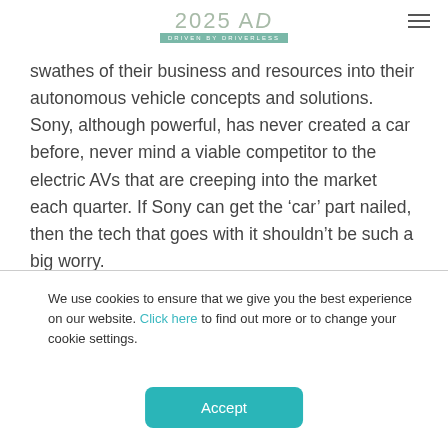2025 AD — DRIVEN BY DRIVERLESS
swathes of their business and resources into their autonomous vehicle concepts and solutions. Sony, although powerful, has never created a car before, never mind a viable competitor to the electric AVs that are creeping into the market each quarter. If Sony can get the ‘car’ part nailed, then the tech that goes with it shouldn’t be such a big worry.
We use cookies to ensure that we give you the best experience on our website. Click here to find out more or to change your cookie settings.
Accept